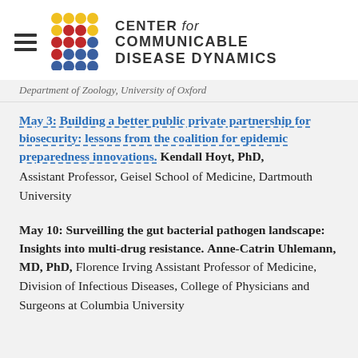CENTER for COMMUNICABLE DISEASE DYNAMICS
Department of Zoology, University of Oxford
May 3: Building a better public private partnership for biosecurity: lessons from the coalition for epidemic preparedness innovations. Kendall Hoyt, PhD, Assistant Professor, Geisel School of Medicine, Dartmouth University
May 10: Surveilling the gut bacterial pathogen landscape: Insights into multi-drug resistance. Anne-Catrin Uhlemann, MD, PhD, Florence Irving Assistant Professor of Medicine, Division of Infectious Diseases, College of Physicians and Surgeons at Columbia University